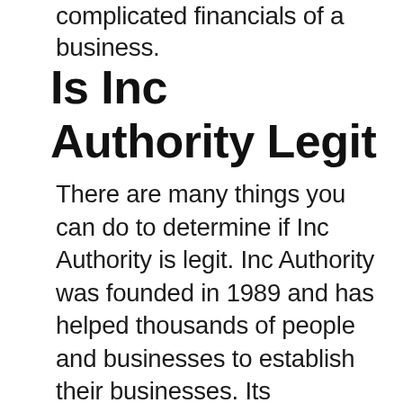complicated financials of a business.
Is Inc Authority Legit
There are many things you can do to determine if Inc Authority is legit. Inc Authority was founded in 1989 and has helped thousands of people and businesses to establish their businesses. Its reputation is solid. It has received high ratings from both financial institutions and users. Although Inc Authority is a good option for anyone looking to form an LLC, there are a few flaws you should be aware of. The company offers incorporation services for free, but has many upsells.